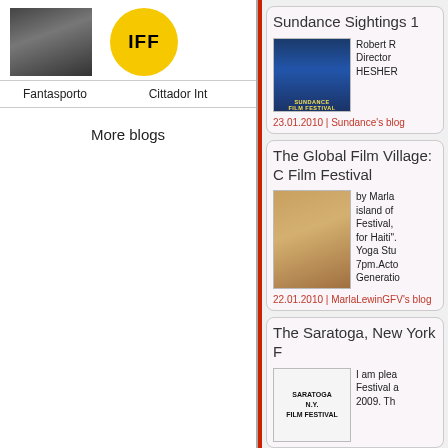[Figure (photo): Partial dark photo top left]
[Figure (logo): IFF circular yellow badge logo]
Fantasporto
Cittador Int
More blogs
Sundance Sightings 1
[Figure (photo): Sundance Film Festival theatre marquee at night]
Robert R
Director
HESHER
23.01.2010 | Sundance's blog
The Global Film Village: C Film Festival
[Figure (photo): Blonde woman portrait - MarlaLewinGFV]
by Marla island of Festival, for Haiti". Yoga Stu 7pm.Acto Generatio
22.01.2010 | MarlaLewinGFV's blog
The Saratoga, New York F
[Figure (logo): Saratoga N.Y. Film Festival text logo]
I am plea Festival a 2009. Th